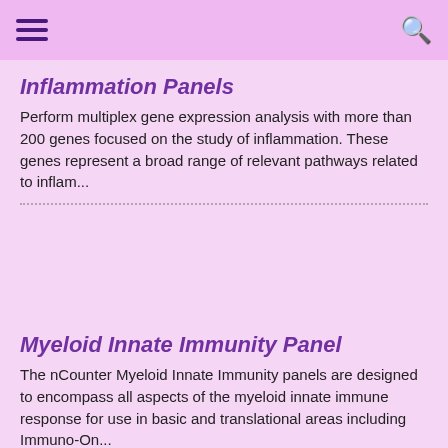Inflammation Panels
Perform multiplex gene expression analysis with more than 200 genes focused on the study of inflammation. These genes represent a broad range of relevant pathways related to inflam...
Myeloid Innate Immunity Panel
The nCounter Myeloid Innate Immunity panels are designed to encompass all aspects of the myeloid innate immune response for use in basic and translational areas including Immuno-On...